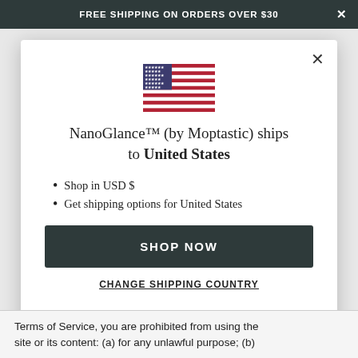FREE SHIPPING ON ORDERS OVER $30
[Figure (illustration): US flag icon]
NanoGlance™ (by Moptastic) ships to United States
Shop in USD $
Get shipping options for United States
SHOP NOW
CHANGE SHIPPING COUNTRY
Terms of Service, you are prohibited from using the site or its content: (a) for any unlawful purpose; (b)